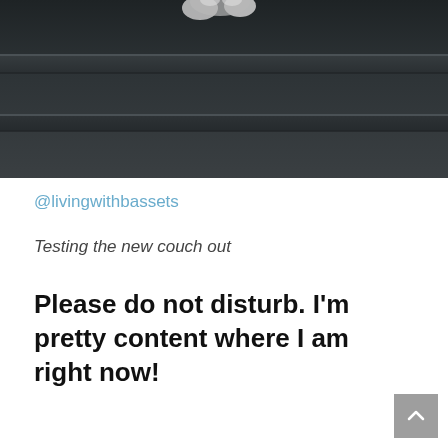[Figure (photo): Close-up photo of a dark gray fabric couch with a dog's paws/snout visible at the top edge, black and white coloring]
@livingwithbassets
Testing the new couch out
Please do not disturb. I’m pretty content where I am right now!